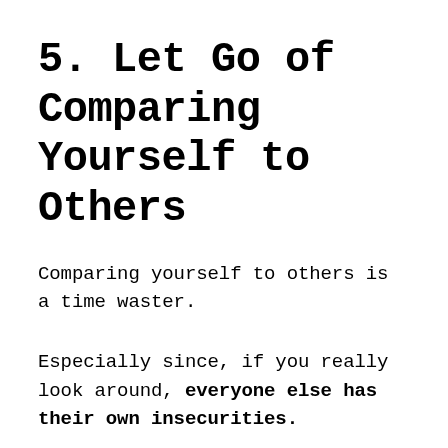5. Let Go of Comparing Yourself to Others
Comparing yourself to others is a time waster.
Especially since, if you really look around, everyone else has their own insecurities.
Just because they have a flat stomach